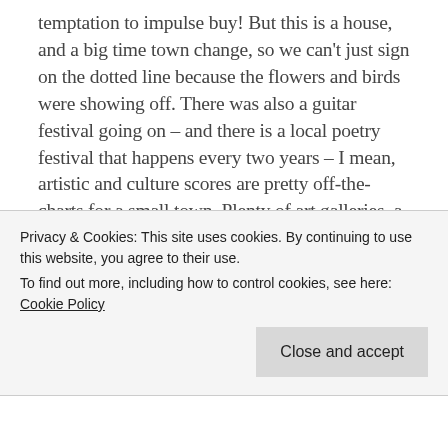temptation to impulse buy! But this is a house, and a big time town change, so we can't just sign on the dotted line because the flowers and birds were showing off. There was also a guitar festival going on – and there is a local poetry festival that happens every two years – I mean, artistic and culture scores are pretty off-the-charts for a small town. Plenty of art galleries, a Northwest Art Museum, and cute shops and restaurants along the water, the Swinomish Channel. Woodinville, known for its
Privacy & Cookies: This site uses cookies. By continuing to use this website, you agree to their use.
To find out more, including how to control cookies, see here: Cookie Policy
Close and accept